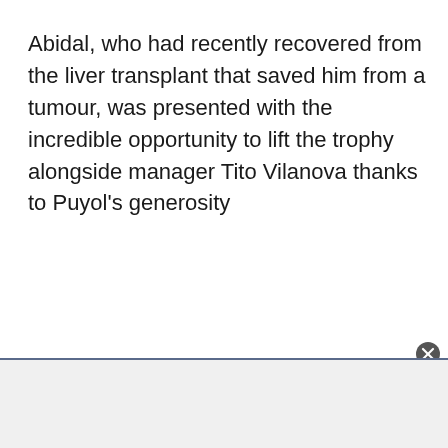Abidal, who had recently recovered from the liver transplant that saved him from a tumour, was presented with the incredible opportunity to lift the trophy alongside manager Tito Vilanova thanks to Puyol's generosity